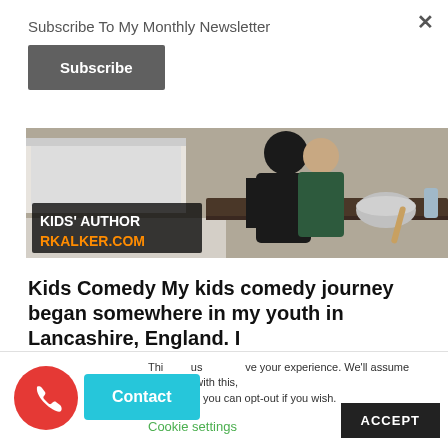×
Subscribe To My Monthly Newsletter
Subscribe
[Figure (photo): Banner image showing two people in a kitchen/bakery setting. Text overlay reads 'KIDS' AUTHOR' in white bold and 'RKALKER.COM' in orange bold on a dark background box.]
Kids Comedy My kids comedy journey began somewhere in my youth in Lancashire, England. I
This site uses cookies to improve your experience. We'll assume you're ok with this, but you can opt-out if you wish.
Cookie settings
ACCEPT
[Figure (illustration): Red circular phone/call button with white phone icon]
Contact